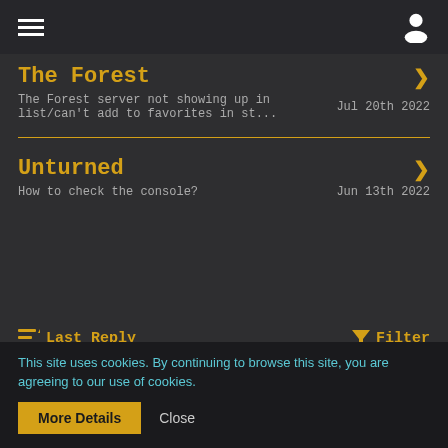Navigation bar with menu and user icon
The Forest
The Forest server not showing up in list/can't add to favorites in st...   Jul 20th 2022
Unturned
How to check the console?   Jun 13th 2022
Last Reply   Filter
Assetto Corsa Competizione   ACC PS4 - Is there any way to enter server admin commands?
This site uses cookies. By continuing to browse this site, you are agreeing to our use of cookies.
More Details   Close